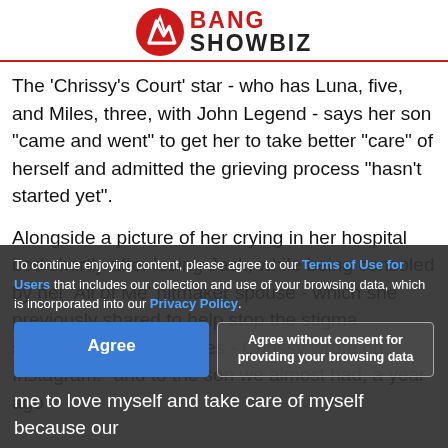BANG SHOWBIZ
The 'Chrissy's Court' star - who has Luna, five, and Miles, three, with John Legend - says her son "came and went" to get her to take better "care" of herself and admitted the grieving process "hasn't started yet".
Alongside a picture of her crying in her hospital bed shortly after losing Jack, while being consoled by her 'All of Me' hitmaker spouse - which she previously shared to help stop the stigma surrounding miscarriages - Chrissy wrote on Instagram: "and to the son we almost had, a year ago you gave me the strength to push on, I don't know how to thank you for believing, even if I didn't want to, I can feel you pushing me to love myself and take care of myself because our
To continue enjoying content, please agree to our Terms of Use for Users that includes our collection and use of your browsing data, which is incorporated into our Privacy Policy.
Agree
Agree without consent for providing your browsing data